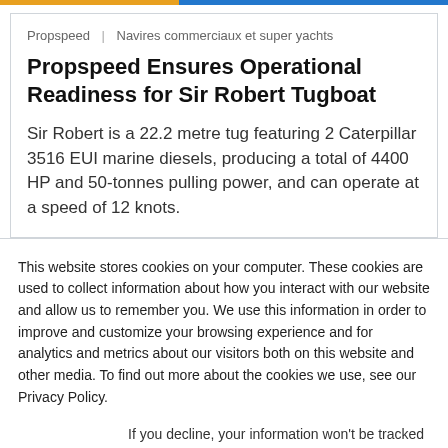Propspeed | Navires commerciaux et super yachts
Propspeed Ensures Operational Readiness for Sir Robert Tugboat
Sir Robert is a 22.2 metre tug featuring 2 Caterpillar 3516 EUI marine diesels, producing a total of 4400 HP and 50-tonnes pulling power, and can operate at a speed of 12 knots.
This website stores cookies on your computer. These cookies are used to collect information about how you interact with our website and allow us to remember you. We use this information in order to improve and customize your browsing experience and for analytics and metrics about our visitors both on this website and other media. To find out more about the cookies we use, see our Privacy Policy.
If you decline, your information won't be tracked when you visit this website. A single cookie will be used in your browser to remember your preference not to be tracked.
Accept | Decline